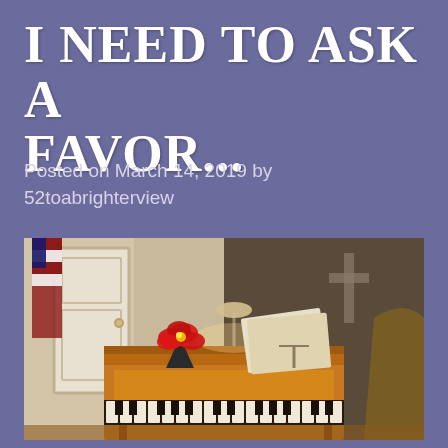I NEED TO ASK A FAVOR...
Posted on March 14, 2019 by 52toabrighterview
[Figure (photo): Interior of a church showing an upright piano with sheet music on a stand, a red poinsettia plant on top, a lamp, an American flag on the left, a white door in the background, and a wooden cross visible on the right side wall.]